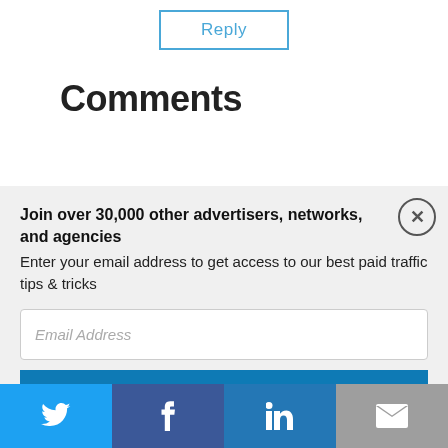Reply
Comments
Join over 30,000 other advertisers, networks, and agencies
Enter your email address to get access to our best paid traffic tips & tricks
Email Address
Send me tips!
[Figure (infographic): Social share bar with Twitter, Facebook, LinkedIn, and email icons]